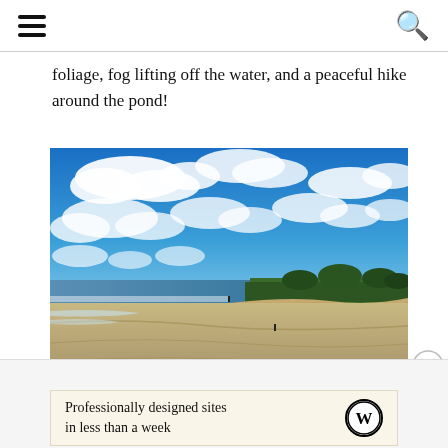[hamburger menu] [search icon]
foliage, fog lifting off the water, and a peaceful hike around the pond!
[Figure (photo): Beach scene with blue sky, white clouds, sandy shore, ocean waves on the left, and dunes with vegetation on the right. Two small figures visible on the beach.]
Advertisements
Professionally designed sites in less than a week